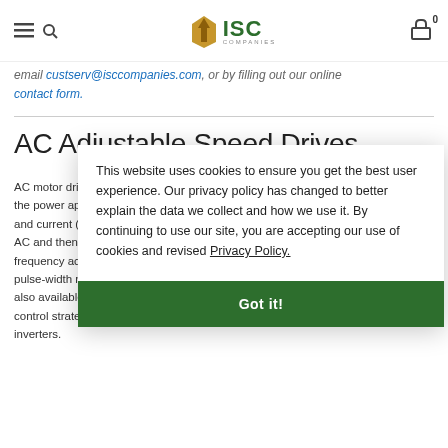ISC Companies
email custserv@isccompanies.com, or by filling out our online contact form.
AC Adjustable Speed Drives
AC motor drives operate by controlling the voltage, current and the frequency of the power applied to the motor. By changing the speed of the AC supply voltage and current (the frequency of the applied power), you can slow down or speed up AC and then change the speed of the motor. These controllers are controllable frequency ac voltage converters. The controllers are known as inverters. Most use pulse-width modulated (PWM) technology, but current-source inverters (CSI) are also available (at higher HP ratings). Flux-vector drives have a more accurate control strategy than strictly controlling the output volts and frequency for PWM inverters.
This website uses cookies to ensure you get the best user experience. Our privacy policy has changed to better explain the data we collect and how we use it. By continuing to use our site, you are accepting our use of cookies and revised Privacy Policy. Got it!